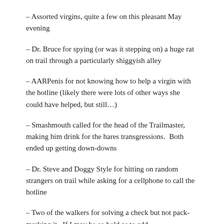– Assorted virgins, quite a few on this pleasant May evening
– Dr. Bruce for spying (or was it stepping on) a huge rat on trail through a particularly shiggyish alley
– AARPenis for not knowing how to help a virgin with the hotline (likely there were lots of other ways she could have helped, but still…)
– Smashmouth called for the head of the Trailmaster, making him drink for the hares transgressions.  Both ended up getting down-downs
– Dr. Steve and Doggy Style for hitting on random strangers on trail while asking for a cellphone to call the hotline
– Two of the walkers for solving a check but not pack-marking it.  If I may be so bold as to add